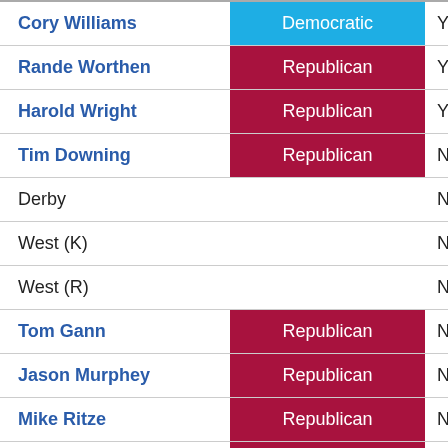| Name | Party | Vote |
| --- | --- | --- |
| Cory Williams | Democratic | Yes |
| Rande Worthen | Republican | Yes |
| Harold Wright | Republican | Yes |
| Tim Downing | Republican | No |
| Derby |  | No |
| West (K) |  | No |
| West (R) |  | No |
| Tom Gann | Republican | No |
| Jason Murphey | Republican | No |
| Mike Ritze | Republican | No |
| Chuck Strohm | Republican | No |